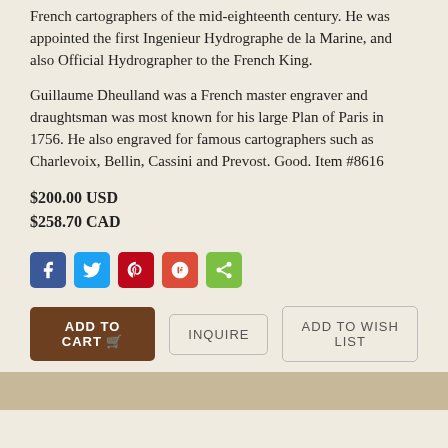French cartographers of the mid-eighteenth century. He was appointed the first Ingenieur Hydrographe de la Marine, and also Official Hydrographer to the French King.
Guillaume Dheulland was a French master engraver and draughtsman was most known for his large Plan of Paris in 1756. He also engraved for famous cartographers such as Charlevoix, Bellin, Cassini and Prevost. Good. Item #8616
$200.00 USD
$258.70 CAD
[Figure (other): Social sharing icons: Facebook (blue), Twitter (light blue), Pinterest (red), Google+ (red-orange), Share (green)]
ADD TO CART | INQUIRE | ADD TO WISH LIST
See all items in Canadiana, Maps, Quebec
See all items by Jacques Nicolas BELLIN, Guillaume DHEULLAND, cartographer